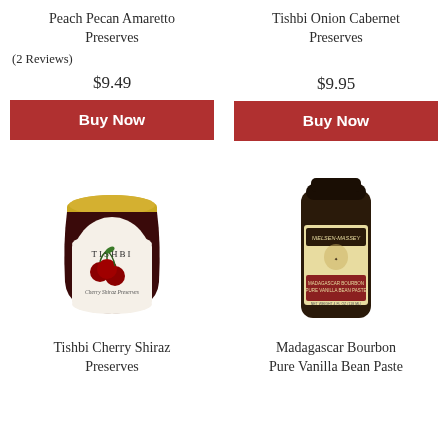Peach Pecan Amaretto Preserves
Tishbi Onion Cabernet Preserves
(2 Reviews)
$9.49
$9.95
Buy Now
Buy Now
[Figure (photo): Tishbi Cherry Shiraz Preserves jar with gold lid, white label showing cherries and TISHBI branding]
[Figure (photo): Nielsen-Massey Madagascar Bourbon Pure Vanilla Bean Paste dark glass bottle with cream label]
Tishbi Cherry Shiraz Preserves
Madagascar Bourbon Pure Vanilla Bean Paste